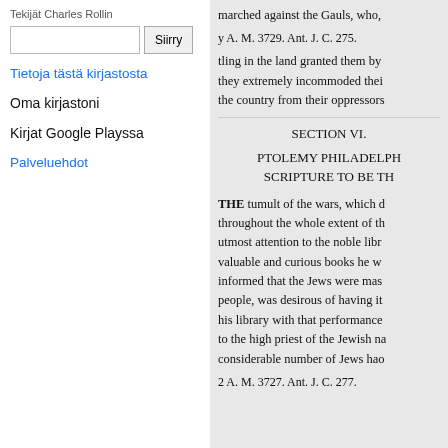Tekijät Charles Rollin
Siirry (search button)
Tietoja tästä kirjastasta
Oma kirjastoni
Kirjat Google Playssa
Palveluehdot
marched against the Gauls, who,
y A. M. 3729. Ant. J. C. 275.
tling in the land granted them by they extremely incommoded thei the country from their oppressors
SECTION VI.
PTOLEMY PHILADELPH SCRIPTURE TO BE TH
THE tumult of the wars, which d throughout the whole extent of th utmost attention to the noble libr valuable and curious books he w informed that the Jews were mas people, was desirous of having it his library with that performance to the high priest of the Jewish na considerable number of Jews hao
2 A. M. 3727. Ant. J. C. 277.